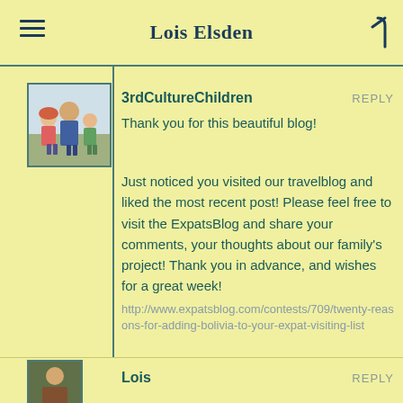Lois Elsden
3rdCultureChildren
REPLY
Thank you for this beautiful blog!
Just noticed you visited our travelblog and liked the most recent post! Please feel free to visit the ExpatsBlog and share your comments, your thoughts about our family's project! Thank you in advance, and wishes for a great week!
http://www.expatsblog.com/contests/709/twenty-reasons-for-adding-bolivia-to-your-expat-visiting-list
Like
Lois
REPLY